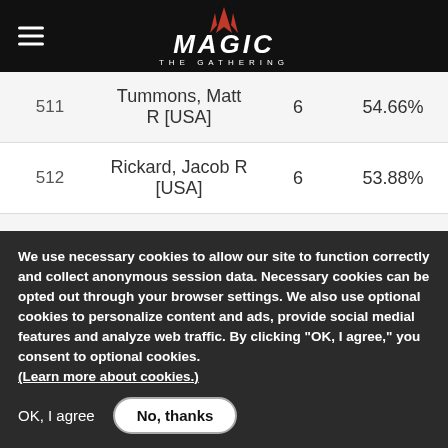Magic: The Gathering
| Rank | Name | Points | Percentage |
| --- | --- | --- | --- |
| 511 | Tummons, Matt R [USA] | 6 | 54.66% |
| 512 | Rickard, Jacob R [USA] | 6 | 53.88% |
| 513 | Mitchell, Max [USA] | 6 | 53.88% |
| 514 | Tucker, Ryan [USA] | 6 | 53.33% |
| 515 | Armstrong, John M [USA] | 6 | 53.33% |
We use necessary cookies to allow our site to function correctly and collect anonymous session data. Necessary cookies can be opted out through your browser settings. We also use optional cookies to personalize content and ads, provide social medial features and analyze web traffic. By clicking “OK, I agree,” you consent to optional cookies. (Learn more about cookies.)
OK, I agree   No, thanks